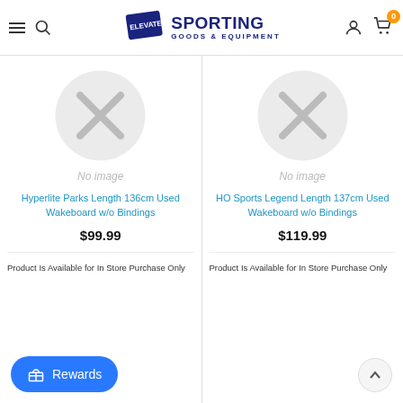[Figure (logo): Elevate Sporting Goods & Equipment logo with navy text]
[Figure (photo): No image placeholder circle for Hyperlite Parks Length 136cm Used Wakeboard w/o Bindings]
Hyperlite Parks Length 136cm Used Wakeboard w/o Bindings
$99.99
Product Is Available for In Store Purchase Only
[Figure (photo): No image placeholder circle for HO Sports Legend Length 137cm Used Wakeboard w/o Bindings]
HO Sports Legend Length 137cm Used Wakeboard w/o Bindings
$119.99
Product Is Available for In Store Purchase Only
Rewards